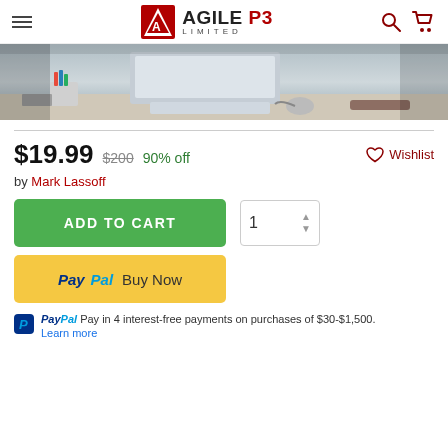Agile P3 Limited — navigation header
[Figure (photo): Desktop computer setup with monitor, keyboard, pencil holder, and notebook on a white desk, blurred background]
$19.99  $200  90% off    ♡ Wishlist
by Mark Lassoff
ADD TO CART  [quantity: 1]
PayPal Buy Now
PayPal Pay in 4 interest-free payments on purchases of $30-$1,500. Learn more